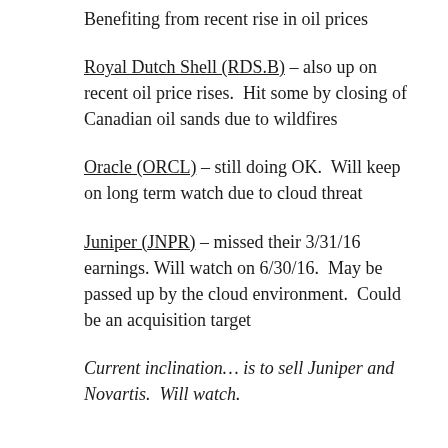Benefiting from recent rise in oil prices
Royal Dutch Shell (RDS.B) – also up on recent oil price rises.  Hit some by closing of Canadian oil sands due to wildfires
Oracle (ORCL) – still doing OK.  Will keep on long term watch due to cloud threat
Juniper (JNPR) – missed their 3/31/16 earnings.  Will watch on 6/30/16.  May be passed up by the cloud environment.  Could be an acquisition target
Current inclination… is to sell Juniper and Novartis.  Will watch.